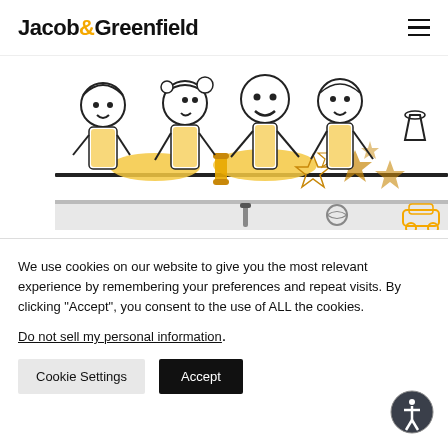Jacob&Greenfield
[Figure (illustration): Cartoon illustration of children baking cookies — characters in yellow aprons rolling dough, cutting shapes, with cookie-cutter shapes and baked cookies scattered on a table. A shelf below shows toys including a rolling pin, ball, and toy car.]
Leave a Lasting Legacy This Holiday
We use cookies on our website to give you the most relevant experience by remembering your preferences and repeat visits. By clicking “Accept”, you consent to the use of ALL the cookies.
Do not sell my personal information.